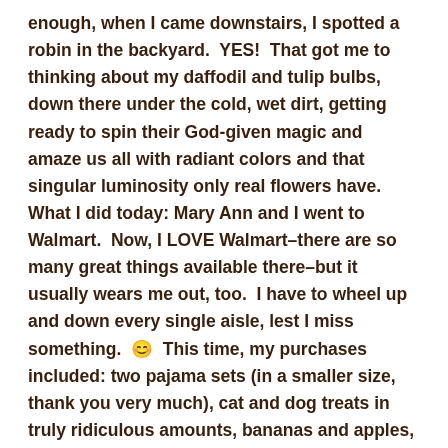enough, when I came downstairs, I spotted a robin in the backyard.  YES!  That got me to thinking about my daffodil and tulip bulbs, down there under the cold, wet dirt, getting ready to spin their God-given magic and amaze us all with radiant colors and that singular luminosity only real flowers have. What I did today: Mary Ann and I went to Walmart.  Now, I LOVE Walmart–there are so many great things available there–but it usually wears me out, too.  I have to wheel up and down every single aisle, lest I miss something.  😊  This time, my purchases included: two pajama sets (in a smaller size, thank you very much), cat and dog treats in truly ridiculous amounts, bananas and apples, because I go through those like there's no tomorrow, and a set of glass mixing bowls.  My